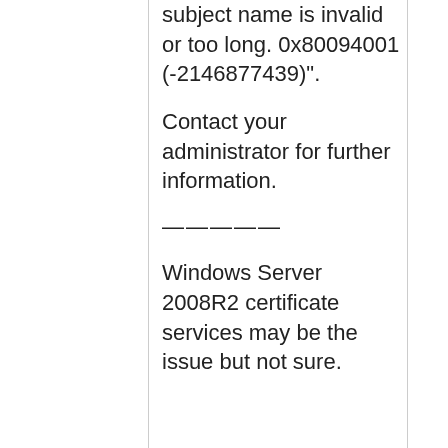subject name is invalid or too long. 0x80094001 (-2146877439)".
Contact your administrator for further information.
—————
Windows Server 2008R2 certificate services may be the issue but not sure.